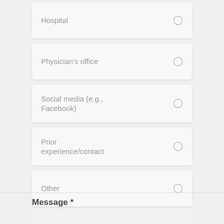Hospital
Physician's office
Social media (e.g., Facebook)
Prior experience/contact
Other
Message *